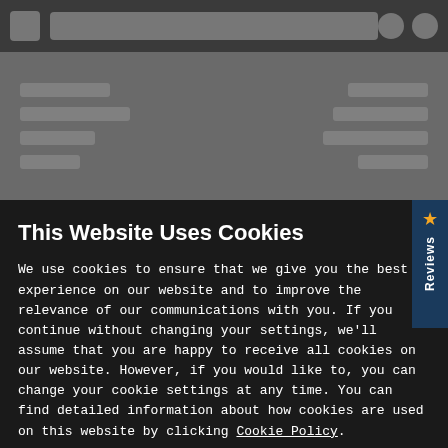[Figure (screenshot): Blurred app UI background with top navigation bar and content rows]
This Website Uses Cookies
We use cookies to ensure that we give you the best experience on our website and to improve the relevance of our communications with you. If you continue without changing your settings, we'll assume that you are happy to receive all cookies on our website. However, if you would like to, you can change your cookie settings at any time. You can find detailed information about how cookies are used on this website by clicking Cookie Policy.
Ok
Cookie Policy